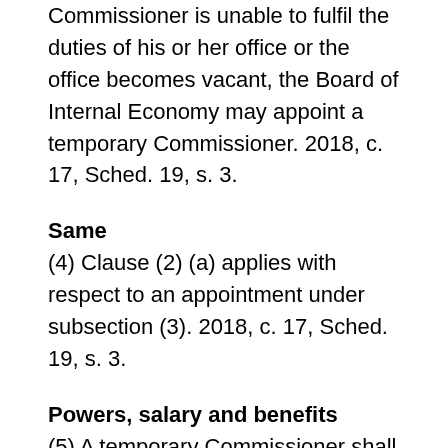Commissioner is unable to fulfil the duties of his or her office or the office becomes vacant, the Board of Internal Economy may appoint a temporary Commissioner. 2018, c. 17, Sched. 19, s. 3.
Same
(4) Clause (2) (a) applies with respect to an appointment under subsection (3). 2018, c. 17, Sched. 19, s. 3.
Powers, salary and benefits
(5) A temporary Commissioner shall have the powers and duties of the Commissioner and shall be paid a salary and benefits determined by the Board of Internal Economy and, subject to the approval of the Board, be reimbursed for